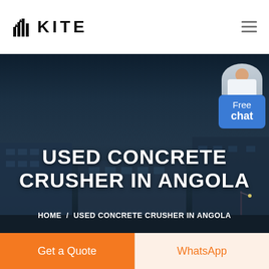[Figure (logo): KITE company logo with building/bar chart icon and bold KITE wordmark]
[Figure (photo): Dark blue-tinted aerial photo of industrial/factory buildings at night with hero overlay text showing 'USED CONCRETE CRUSHER IN ANGOLA' and breadcrumb navigation. A customer service agent widget labeled 'Free chat' appears in the top-right corner.]
USED CONCRETE CRUSHER IN ANGOLA
HOME / USED CONCRETE CRUSHER IN ANGOLA
Get a Quote
WhatsApp